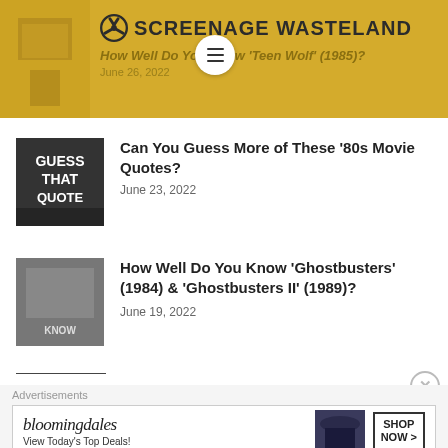SCREENAGE WASTELAND
How Well Do You Know 'Teen Wolf' (1985)?
June 26, 2022
Can You Guess More of These '80s Movie Quotes?
June 23, 2022
How Well Do You Know 'Ghostbusters' (1984) & 'Ghostbusters II' (1989)?
June 19, 2022
Advertisements
[Figure (other): Bloomingdale's advertisement: bloomingdales, View Today's Top Deals!, SHOP NOW >]